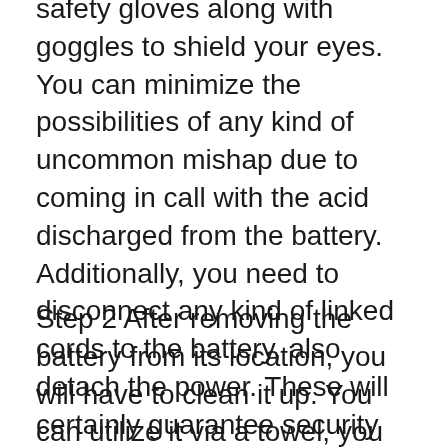safety gloves along with goggles to shield your eyes. You can minimize the possibilities of any kind of uncommon mishap due to coming in call with the acid discharged from the battery. Additionally, you need to disconnect any kind of linked cords to the battery, also detach the power. These will certainly guarantee security and avoid shocks.
Step 2 After removing the battery from its location, you will have to clean it up. You can utilize it via a towel, you might need to use a rough brush or steel wool to eliminate deposits if you see any rust. After that you can use the cloth once more to clean the